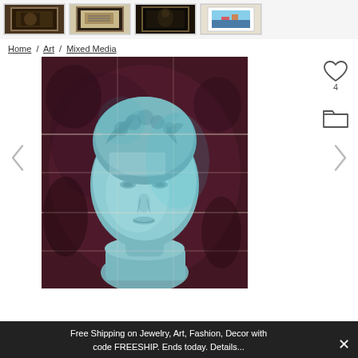[Figure (photo): Row of four art thumbnail images in a gray header bar]
Home / Art / Mixed Media
[Figure (photo): Large main image of a classical Greek/Roman-style stone bust head with turquoise-tinted texture on a dark purple-brown background, appearing as a mixed media artwork with visible panel seams]
Free Shipping on Jewelry, Art, Fashion, Decor with code FREESHIP. Ends today. Details...